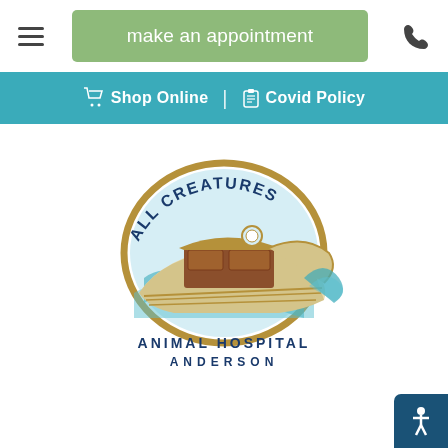[Figure (other): Green appointment button in top navigation bar with hamburger menu icon on left and phone icon on right]
make an appointment
[Figure (other): Teal navigation bar with Shop Online and Covid Policy links]
[Figure (logo): All Creatures Animal Hospital Anderson logo featuring a Noah's ark style boat with waves and text arched around it]
Mobile Vet Services
IN CINCINNATI, OH
Partial body text about mobile vet services in Cincinnati OH area (faded/watermark)